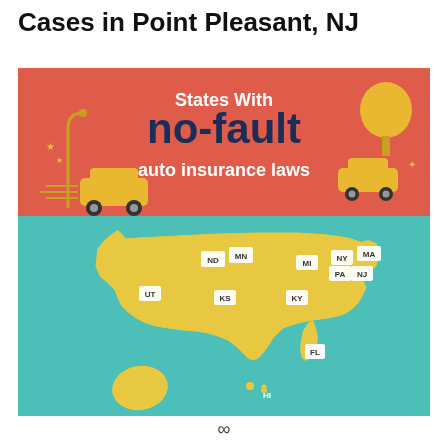Cases in Point Pleasant, NJ
[Figure (infographic): Infographic titled 'States With no-fault auto insurance laws' showing a map of the United States with no-fault states highlighted in yellow and labeled: ND, MN, MI, NY, MA, PA, NJ, UT, KS, KY, FL, HI. The top section has a red/salmon background with illustrated cars and a tree. The bottom section has a teal background with the US map.]
∞